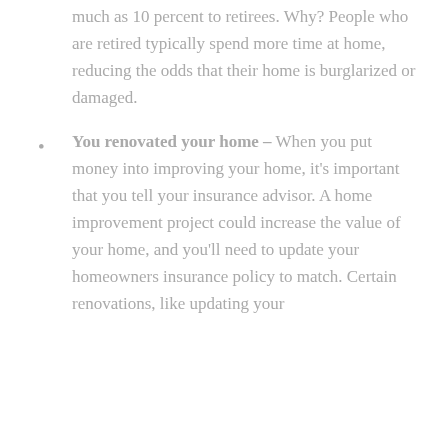much as 10 percent to retirees. Why? People who are retired typically spend more time at home, reducing the odds that their home is burglarized or damaged.
You renovated your home – When you put money into improving your home, it's important that you tell your insurance advisor. A home improvement project could increase the value of your home, and you'll need to update your homeowners insurance policy to match. Certain renovations, like updating your